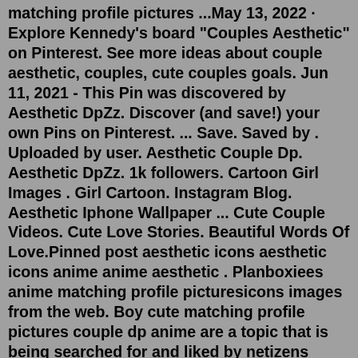matching profile pictures ...May 13, 2022 · Explore Kennedy's board "Couples Aesthetic" on Pinterest. See more ideas about couple aesthetic, couples, cute couples goals. Jun 11, 2021 - This Pin was discovered by Aesthetic DpZz. Discover (and save!) your own Pins on Pinterest. ... Save. Saved by . Uploaded by user. Aesthetic Couple Dp. Aesthetic DpZz. 1k followers. Cartoon Girl Images . Girl Cartoon. Instagram Blog. Aesthetic Iphone Wallpaper ... Cute Couple Videos. Cute Love Stories. Beautiful Words Of Love.Pinned post aesthetic icons aesthetic icons anime anime aesthetic . Planboxiees anime matching profile picturesicons images from the web. Boy cute matching profile pictures couple dp anime are a topic that is being searched for and liked by netizens these days. Cute couple dp, cute couple cartoon, cute cartoon images, cute love .Apr 30, 2022 · Mary, kakegurui, and anime pfp image. Matching anime pfp wallpapers posted by ryan simpson. 2296x4228 cute hd anime couple dp wallpaper>. Your boy cute matching profile pictures couple dp anime pix are.